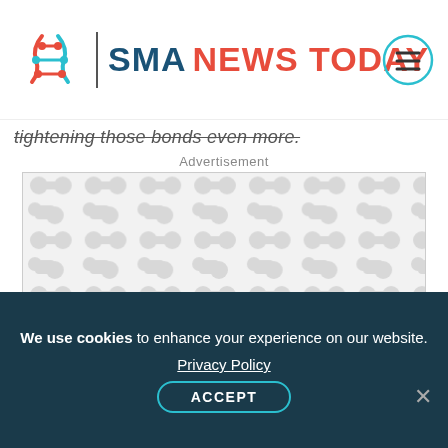SMA NEWS TODAY
tightening those bonds even more.
Advertisement
[Figure (other): Advertisement placeholder with repeating DNA molecule pattern on light grey background]
We use cookies to enhance your experience on our website. Privacy Policy ACCEPT